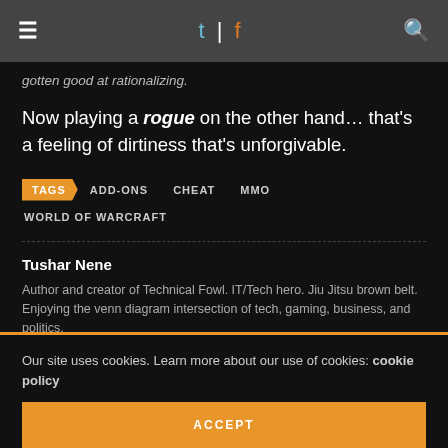t | f
gotten good at rationalizing.
Now playing a rogue on the other hand… that's a feeling of dirtiness that's unforgivable.
TAGS   ADD-ONS   CHEAT   MMO   WORLD OF WARCRAFT
Tushar Nene
Author and creator of Technical Fowl. IT/Tech hero. Jiu Jitsu brown belt. Enjoying the venn diagram intersection of tech, gaming, business, and politics.
Our site uses cookies. Learn more about our use of cookies: cookie policy
ACCEPT